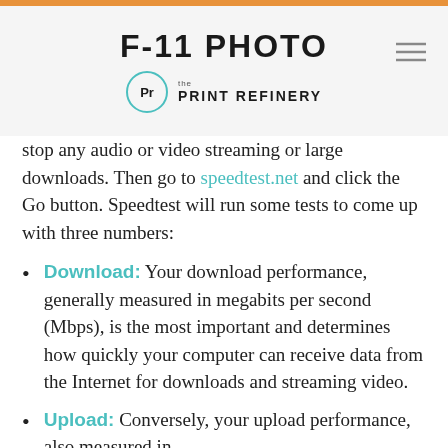F-11 PHOTO | the PRINT REFINERY
stop any audio or video streaming or large downloads. Then go to speedtest.net and click the Go button. Speedtest will run some tests to come up with three numbers:
Download: Your download performance, generally measured in megabits per second (Mbps), is the most important and determines how quickly your computer can receive data from the Internet for downloads and streaming video.
Upload: Conversely, your upload performance, also measured in